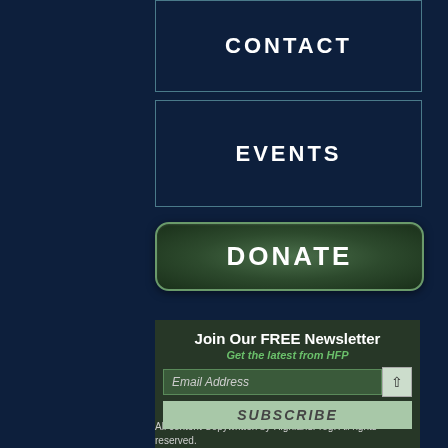CONTACT
EVENTS
DONATE
Join Our FREE Newsletter
Get the latest from HFP
Email Address
SUBSCRIBE
All content Copywritten by HighlandFrog. All rights reserved.